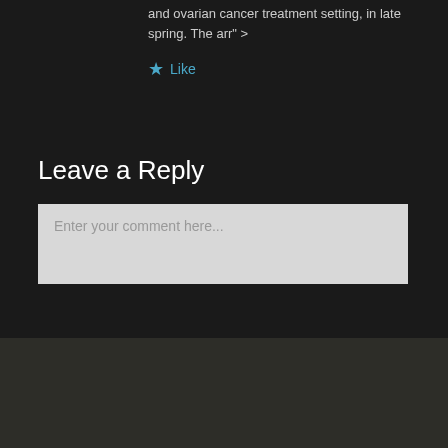and ovarian cancer treatment setting, in late spring. The arr" >
★ Like
Leave a Reply
Enter your comment here...
SUBSCRIBE TO UPDATES